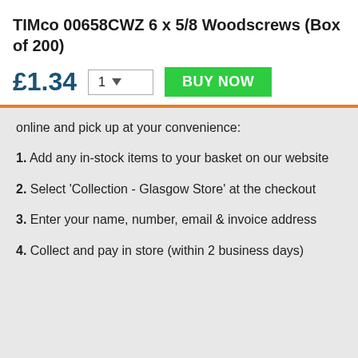TIMco 00658CWZ 6 x 5/8 Woodscrews (Box of 200)
£1.34  [quantity: 1]  BUY NOW
online and pick up at your convenience:
1. Add any in-stock items to your basket on our website
2. Select 'Collection - Glasgow Store' at the checkout
3. Enter your name, number, email & invoice address
4. Collect and pay in store (within 2 business days)